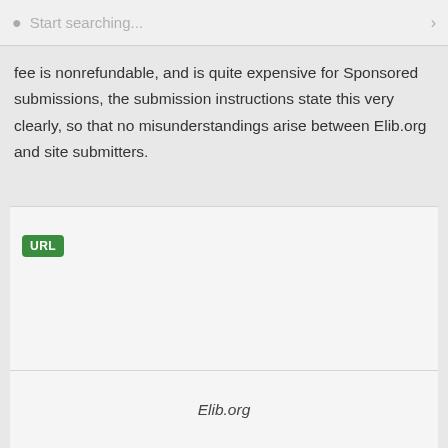Start searching...
fee is nonrefundable, and is quite expensive for Sponsored submissions, the submission instructions state this very clearly, so that no misunderstandings arise between Elib.org and site submitters.
[Figure (other): A green badge/button labeled URL]
Elib.org